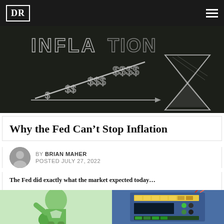DR
[Figure (photo): Chalkboard with the word INFLATION and dollar signs drawn in chalk, with a rising arrow chart and an hourglass shape]
Why the Fed Can't Stop Inflation
BY BRIAN MAHER
POSTED JULY 27, 2022
The Fed did exactly what the market expected today...
[Figure (photo): Bottom image strip showing a green-tinted superhero figure on the left and a blue electronic control panel with yellow and green indicator lights on the right]